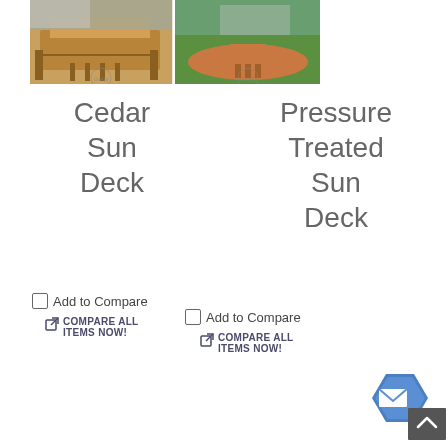[Figure (photo): Two deck photos side by side: left shows a cedar sun deck with wooden railing and stairs attached to a house; right shows a pressure treated sun deck with rounded shape and steps on a lawn.]
Cedar Sun Deck
Pressure Treated Sun Deck
Add to Compare
COMPARE ALL ITEMS NOW!
Add to Compare
COMPARE ALL ITEMS NOW!
[Figure (illustration): Blue hexagonal mail/contact button icon with envelope symbol, and a dark scroll-to-top button with an upward chevron.]